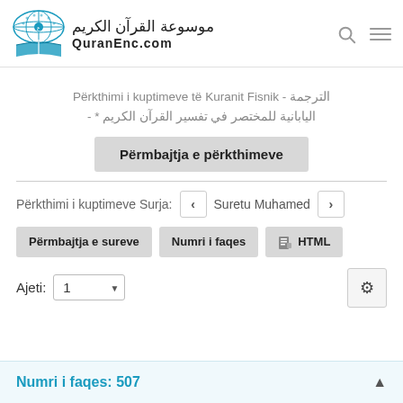QuranEnc.com - موسوعة القرآن الكريم
Përkthimi i kuptimeve të Kuranit Fisnik - الترجمة - * - اليابانية للمختصر في تفسير القرآن الكريم
Përmbajtja e përkthimeve
Përkthimi i kuptimeve Surja: Suretu Muhamed
Përmbajtja e sureve | Numri i faqes | HTML
Ajeti: 1
Numri i faqes: 507